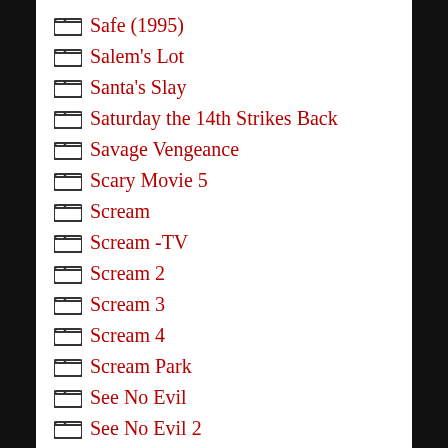Safe (1995)
Salem's Lot
Santa's Slay
Saturday the 14th Strikes Back
Savage Vengeance
Scary Movie 5
Scream
Scream -TV
Scream 2
Scream 3
Scream 4
Scream Park
See No Evil
See No Evil 2
Seed of Chucky